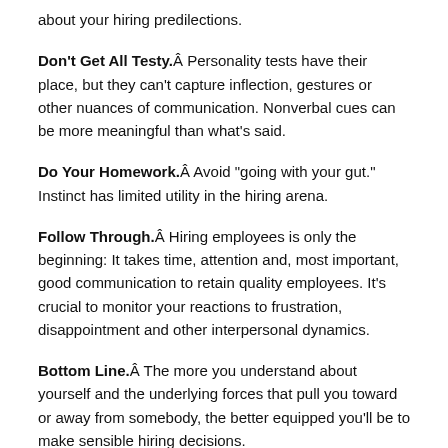about your hiring predilections.
Don't Get All Testy.Â Personality tests have their place, but they can't capture inflection, gestures or other nuances of communication. Nonverbal cues can be more meaningful than what's said.
Do Your Homework.Â Avoid “going with your gut.” Instinct has limited utility in the hiring arena.
Follow Through.Â Hiring employees is only the beginning: It takes time, attention and, most important, good communication to retain quality employees. It’s crucial to monitor your reactions to frustration, disappointment and other interpersonal dynamics.
Bottom Line.Â The more you understand about yourself and the underlying forces that pull you toward or away from somebody, the better equipped you’ll be to make sensible hiring decisions.
Alexander Stein, Ph.D., is a business psychoanalyst in New York